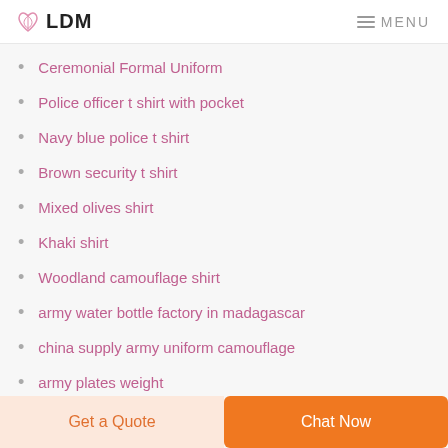LDM  MENU
Ceremonial Formal Uniform
Police officer t shirt with pocket
Navy blue police t shirt
Brown security t shirt
Mixed olives shirt
Khaki shirt
Woodland camouflage shirt
army water bottle factory in madagascar
china supply army uniform camouflage
army plates weight
used army uniforms for sale
Get a Quote  Chat Now